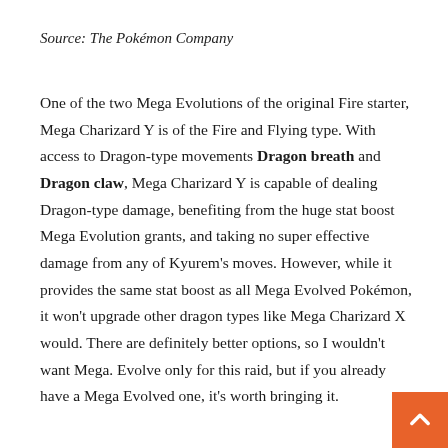Source: The Pokémon Company
One of the two Mega Evolutions of the original Fire starter, Mega Charizard Y is of the Fire and Flying type. With access to Dragon-type movements Dragon breath and Dragon claw, Mega Charizard Y is capable of dealing Dragon-type damage, benefiting from the huge stat boost Mega Evolution grants, and taking no super effective damage from any of Kyurem's moves. However, while it provides the same stat boost as all Mega Evolved Pokémon, it won't upgrade other dragon types like Mega Charizard X would. There are definitely better options, so I wouldn't want Mega. Evolve only for this raid, but if you already have a Mega Evolved one, it's worth bringing it.